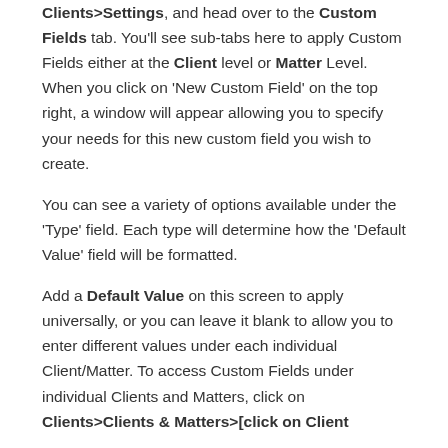Clients>Settings, and head over to the Custom Fields tab. You'll see sub-tabs here to apply Custom Fields either at the Client level or Matter Level. When you click on 'New Custom Field' on the top right, a window will appear allowing you to specify your needs for this new custom field you wish to create.
You can see a variety of options available under the 'Type' field. Each type will determine how the 'Default Value' field will be formatted.
Add a Default Value on this screen to apply universally, or you can leave it blank to allow you to enter different values under each individual Client/Matter. To access Custom Fields under individual Clients and Matters, click on Clients>Clients & Matters>[click on Client